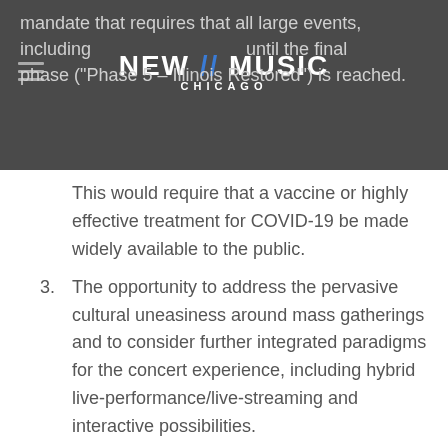mandate that requires that all large events, including [logo] until the final phase ("Phase 5 – Illinois Restored") is reached.
[Figure (logo): NEW // MUSIC CHICAGO logo in white and blue on dark grey background]
This would require that a vaccine or highly effective treatment for COVID-19 be made widely available to the public.
3. The opportunity to address the pervasive cultural uneasiness around mass gatherings and to consider further integrated paradigms for the concert experience, including hybrid live-performance/live-streaming and interactive possibilities.
The theme for Ear Taxi Festival will be: HEAR CHICAGO
HEAR CHICAGO is a call to engage with the vast multiplicity of styles and traditions that constitutes